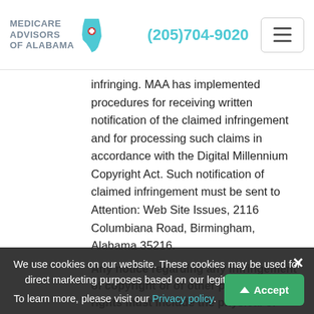MEDICARE ADVISORS OF ALABAMA | (205)704-9020
infringing. MAA has implemented procedures for receiving written notification of the claimed infringement and for processing such claims in accordance with the Digital Millennium Copyright Act. Such notification of claimed infringement must be sent to Attention: Web Site Issues, 2116 Columbiana Road, Birmingham, Alabama 35216.
Any notice regarding any infringement of copyright or of other proprietary rights must include the physical or electronic signature of a person
We use cookies on our website. These cookies may be used for direct marketing purposes based on our legitimate interest. To learn more, please visit our Privacy policy. Accept